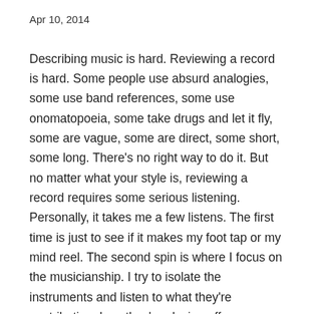Apr 10, 2014
Describing music is hard. Reviewing a record is hard. Some people use absurd analogies, some use band references, some use onomatopoeia, some take drugs and let it fly, some are vague, some are direct, some short, some long. There’s no right way to do it. But no matter what your style is, reviewing a record requires some serious listening. Personally, it takes me a few listens. The first time is just to see if it makes my foot tap or my mind reel. The second spin is where I focus on the musicianship. I try to isolate the instruments and listen to what they’re contributing, how they’re playing off one another, or try to understand what the fuck they’re even doing. The third time around I like to drink a beer and see what images come to me when I listen to it. This part is the most fun. It generally doesn’t make sense, but makes